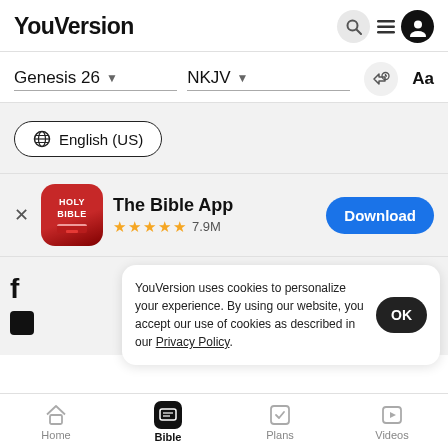YouVersion
Genesis 26 ▾   NKJV ▾   🔊   Aa
⊕ English (US)
[Figure (screenshot): The Bible App icon with HOLY BIBLE text, 5 stars, 7.9M rating, and Download button]
YouVersion uses cookies to personalize your experience. By using our website, you accept our use of cookies as described in our Privacy Policy.
Home   Bible   Plans   Videos